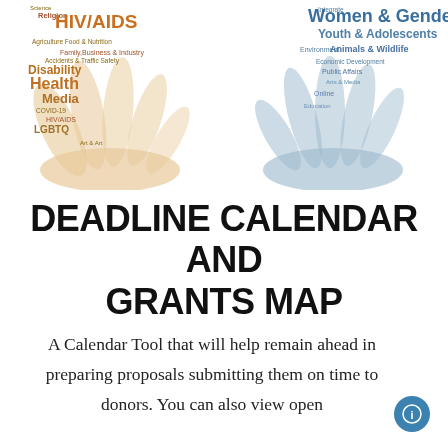[Figure (illustration): Left word cloud in the shape of a hand, featuring topics like HIV/AIDS, Religion, Science, Agriculture Food & Nutrition, Disability, Health, Media, COVID-19, HIV/AIDS, LGBTQ, in orange/tan tones]
[Figure (illustration): Right word cloud in the shape of a hand, featuring topics like Women & Gender, Youth & Adolescents, Environment, Animals & Wildlife, Public Affairs, Economic Development, in blue/teal tones]
DEADLINE CALENDAR AND GRANTS MAP
A Calendar Tool that will help remain ahead in preparing proposals submitting them on time to donors. You can also view open